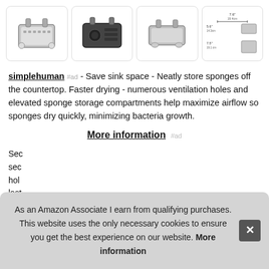[Figure (photo): Four product images of a simplehuman stainless steel sponge holder: side view, front view, top view, and dimension diagram]
simplehuman #ad - Save sink space - Neatly store sponges off the countertop. Faster drying - numerous ventilation holes and elevated sponge storage compartments help maximize airflow so sponges dry quickly, minimizing bacteria growth.
More information #ad
Sec sec hol last
As an Amazon Associate I earn from qualifying purchases. This website uses the only necessary cookies to ensure you get the best experience on our website. More information